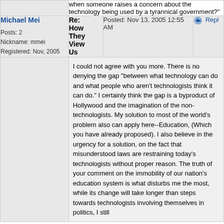when someone raises a concern about the technology being used by a tyrannical government?"
Michael Mei
Posts: 2
Nickname: mmei
Registered: Nov, 2005
Re: How They View Us
Posted: Nov 13, 2005 12:55 AM
Reply
I could not agree with you more. There is no denying the gap "between what technology can do and what people who aren't technologists think it can do." I certainly think the gap is a byproduct of Hollywood and the imagination of the non-technologists. My solution to most of the world’s problem also can apply here--Education, (Which you have already proposed). I also believe in the urgency for a solution, on the fact that misunderstood laws are restraining today's technologists without proper reason. The truth of your comment on the immobility of our nation's education system is what disturbs me the most, while its change will take longer than steps towards technologists involving themselves in politics, I still